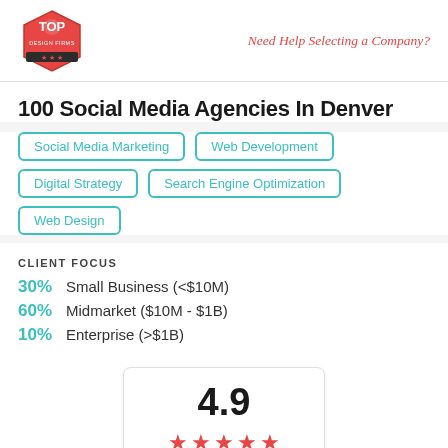Need Help Selecting a Company?
100 Social Media Agencies In Denver
Social Media Marketing
Web Development
Digital Strategy
Search Engine Optimization
Web Design
CLIENT FOCUS
30% Small Business (<$10M)
60% Midmarket ($10M - $1B)
10% Enterprise (>$1B)
[Figure (other): Rating box showing 4.9 with 5 red stars]